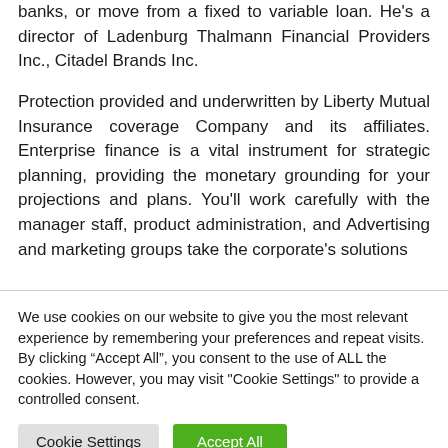banks, or move from a fixed to variable loan. He's a director of Ladenburg Thalmann Financial Providers Inc., Citadel Brands Inc.
Protection provided and underwritten by Liberty Mutual Insurance coverage Company and its affiliates. Enterprise finance is a vital instrument for strategic planning, providing the monetary grounding for your projections and plans. You'll work carefully with the manager staff, product administration, and Advertising and marketing groups take the corporate's solutions
We use cookies on our website to give you the most relevant experience by remembering your preferences and repeat visits. By clicking “Accept All”, you consent to the use of ALL the cookies. However, you may visit "Cookie Settings" to provide a controlled consent.